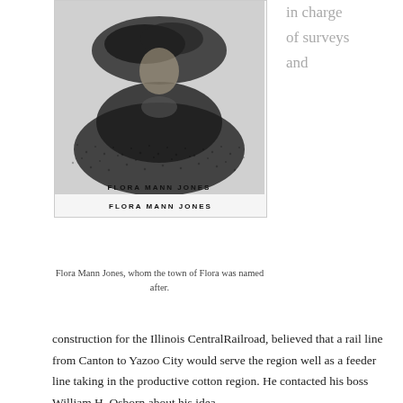[Figure (illustration): Black and white engraving portrait of Flora Mann Jones, a woman in Victorian-era clothing with a large decorative hat and full skirt. Label at bottom reads FLORA MANN JONES.]
Flora Mann Jones, whom the town of Flora was named after.
in charge of surveys and
construction for the Illinois CentralRailroad, believed that a rail line from Canton to Yazoo City would serve the region well as a feeder line taking in the productive cotton region. He contacted his boss William H. Osborn about his idea.